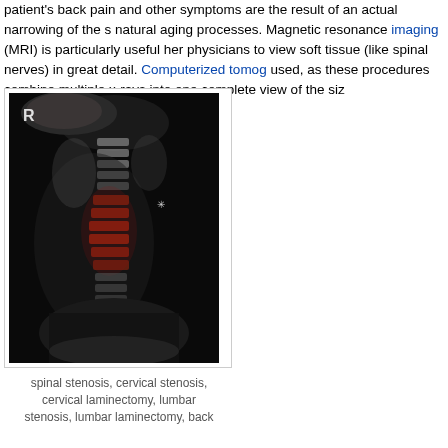patient's back pain and other symptoms are the result of an actual narrowing of the s natural aging processes. Magnetic resonance imaging (MRI) is particularly useful her physicians to view soft tissue (like spinal nerves) in great detail. Computerized tomo used, as these procedures combine multiple x-rays into one complete view of the siz
[Figure (photo): X-ray image of a cervical/neck spine showing highlighted (red) vertebrae indicating spinal stenosis area, with 'R' marker in upper left corner]
spinal stenosis, cervical stenosis, cervical laminectomy, lumbar stenosis, lumbar laminectomy, back